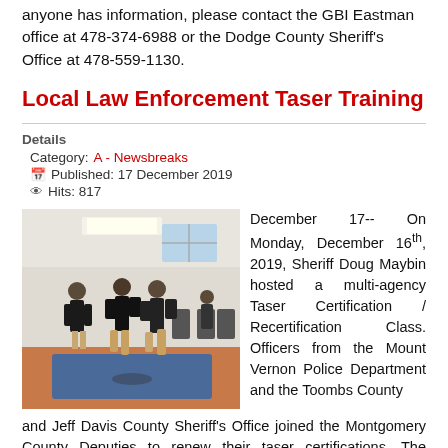anyone has information, please contact the GBI Eastman office at 478-374-6988 or the Dodge County Sheriff's Office at 478-559-1130.
Local Law Enforcement Taser Training
Details
Category: A - Newsbreaks
Published: 17 December 2019
Hits: 817
[Figure (photo): Law enforcement officers practicing taser techniques in a training room. Officers in black uniforms are sparring/demonstrating on a blue mat, with chairs and other officers visible in the background.]
December 17-- On Monday, December 16th, 2019, Sheriff Doug Maybin hosted a multi-agency Taser Certification / Recertification Class. Officers from the Mount Vernon Police Department and the Toombs County and Jeff Davis County Sheriff's Office joined the Montgomery County Deputies to renew their taser certifications. The training class is comprised of